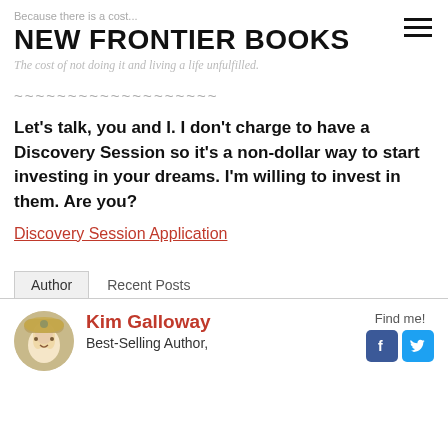Because there is a cost... NEW FRONTIER BOOKS The cost of not doing it and living a life unfulfilled.
~~~~~~~~~~~~~~~~~~~
Let's talk, you and I. I don't charge to have a Discovery Session so it's a non-dollar way to start investing in your dreams. I'm willing to invest in them. Are you?
Discovery Session Application
Author | Recent Posts
Kim Galloway
Best-Selling Author,
Find me!